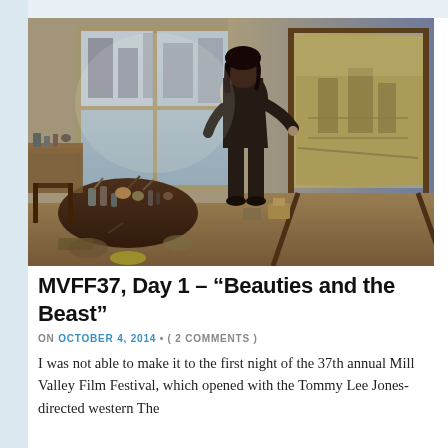[Figure (photo): A painter working in a cluttered studio apartment, standing at an easel painting a large cityscape mural on a canvas. The room has large windows letting in daylight, a messy worktable covered in art supplies, and paint supplies on the floor.]
MVFF37, Day 1 – “Beauties and the Beast”
ON OCTOBER 4, 2014 • ( 2 COMMENTS )
I was not able to make it to the first night of the 37th annual Mill Valley Film Festival, which opened with the Tommy Lee Jones-directed western The